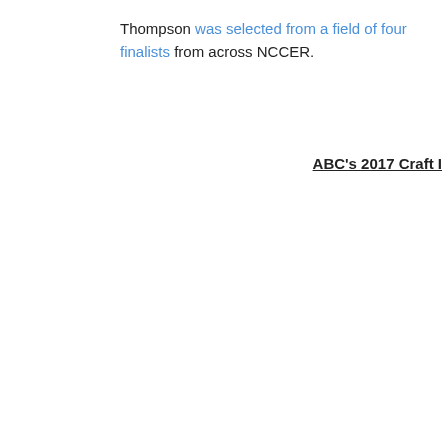Thompson was selected from a field of four finalists from across NCCER.
ABC's 2017 Craft I...
[Figure (photo): Two women standing on a stage holding a large check or award certificate. The certificate reads 'NATIONAL CRAFT CHAMPIONSHIPS' and '2017 Craft...' at the bottom. The background is dark blue with a geometric pattern.]